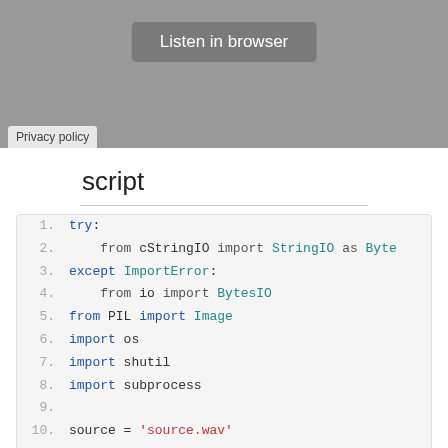[Figure (screenshot): Browser UI with 'Listen in browser' button and 'Privacy policy' tab at bottom]
script
[Figure (screenshot): Code block showing Python script lines 1-13 with syntax highlighting: try/except ImportError block importing StringIO/BytesIO, PIL Image, os, shutil, subprocess imports, source and swap_file variables]